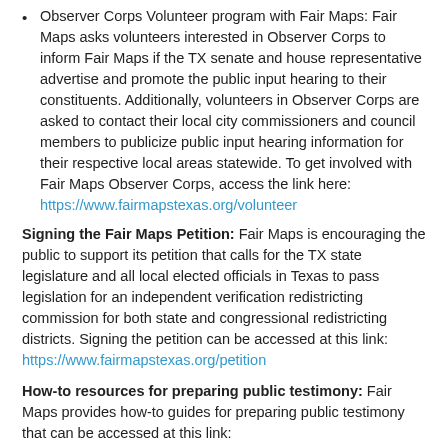Observer Corps Volunteer program with Fair Maps: Fair Maps asks volunteers interested in Observer Corps to inform Fair Maps if the TX senate and house representative advertise and promote the public input hearing to their constituents. Additionally, volunteers in Observer Corps are asked to contact their local city commissioners and council members to publicize public input hearing information for their respective local areas statewide. To get involved with Fair Maps Observer Corps, access the link here: https://www.fairmapstexas.org/volunteer
Signing the Fair Maps Petition: Fair Maps is encouraging the public to support its petition that calls for the TX state legislature and all local elected officials in Texas to pass legislation for an independent verification redistricting commission for both state and congressional redistricting districts. Signing the petition can be accessed at this link: https://www.fairmapstexas.org/petition
How-to resources for preparing public testimony: Fair Maps provides how-to guides for preparing public testimony that can be accessed at this link: https://www.fairmapstexas.org/testimony-guides . Additionally, Fair Maps provides videos on how to provide public testimony.